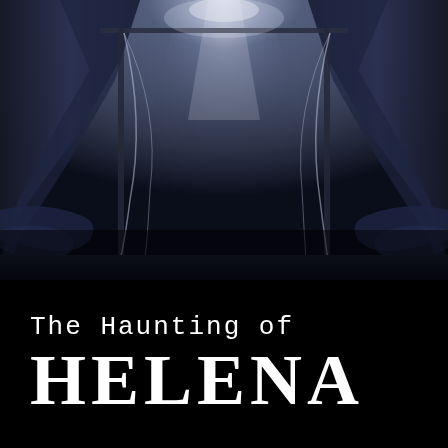[Figure (photo): Dark atmospheric photo of a canopied bed with sheer curtains/draping fabric hanging from a frame, lit from above with a dramatic light beam, set in a dimly lit dark blue and grey room]
The Haunting of HELENA